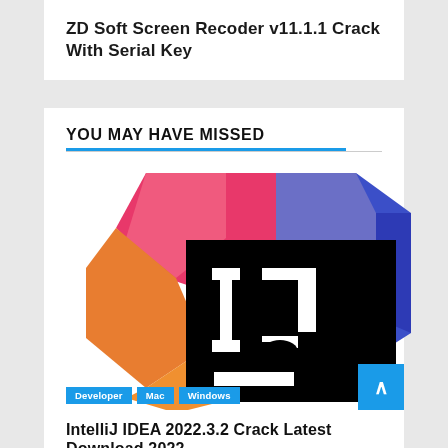ZD Soft Screen Recoder v11.1.1 Crack With Serial Key
YOU MAY HAVE MISSED
[Figure (logo): IntelliJ IDEA logo — colorful geometric shapes (pink, orange, purple, blue) behind a black square with white 'IJ' letters and an underscore]
Developer
Mac
Windows
IntelliJ IDEA 2022.3.2 Crack Latest Download 2022